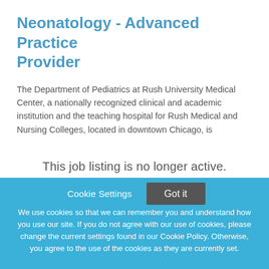Neonatology - Advanced Practice Provider
The Department of Pediatrics at Rush University Medical Center, a nationally recognized clinical and academic institution and the teaching hospital for Rush Medical and Nursing Colleges, located in downtown Chicago, is
This job listing is no longer active.
Cookie Settings
Got it
We use cookies so that we can remember you and understand how you use our site. If you do not agree with our use of cookies, please change the current settings found in our Cookie Policy. Otherwise, you agree to the use of the cookies as they are currently set.